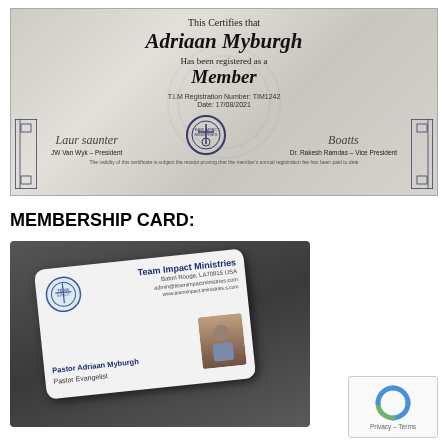[Figure (photo): Team Impact Ministries membership certificate for Adriaan Myburgh. States: 'This Certifies that Adriaan Myburgh Has been registered as a Member. T.I.M Registration Number: TIM1242. Date: 17/08/2021. JW Van Wyk – President. Dr. Rakesh Ramdas – Vice President.' Shows signatures and organization seal/logo.]
MEMBERSHIP CARD:
[Figure (photo): Photo of a physical membership card for Team Impact Ministries showing: organization logo, 'Team Impact Ministries', 'Baton Rouge, LA 70815 USA', 'admin@teamimpactministries.com', 'www.teamimpact.tministries.s.com', 'Pastor Adriaan Myburgh', 'Pastor Evangelist'. A reCAPTCHA widget is visible in the bottom right corner with 'Privacy – Terms' text.]